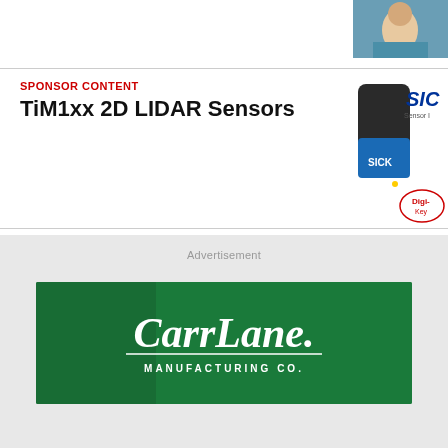[Figure (photo): Person photo (headshot) cropped at top right corner]
SPONSOR CONTENT
TiM1xx 2D LIDAR Sensors
[Figure (photo): SICK TiM1xx 2D LIDAR sensor device image with SICK and Digi-Key logos]
Advertisement
[Figure (photo): Carr Lane Manufacturing Co. advertisement banner with green background and logo]
Come visit us at IMTS Booth #431663!